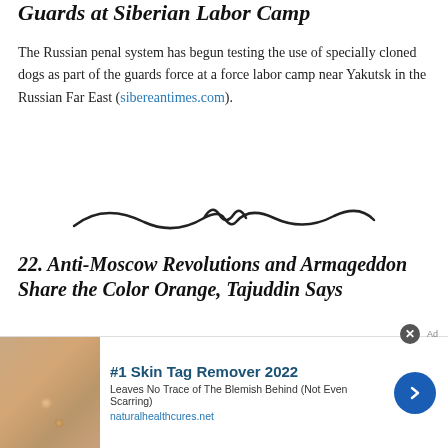Guards at Siberian Labor Camp
The Russian penal system has begun testing the use of specially cloned dogs as part of the guards force at a force labor camp near Yakutsk in the Russian Far East (sibereantimes.com).
[Figure (illustration): Decorative swirl/wave divider line]
22. Anti-Moscow Revolutions and Armageddon Share the Color Orange, Tajuddin Says
Talgat Tajuddin, who sometimes styles himself as the Supreme Mufti of Holy Russia, says that orange revolutions and the end of the world have this in common – their color (business-gazeta.ru).
[Figure (other): Advertisement: #1 Skin Tag Remover 2022 – Leaves No Trace of The Blemish Behind (Not Even Scarring). naturalhealthcures.net]